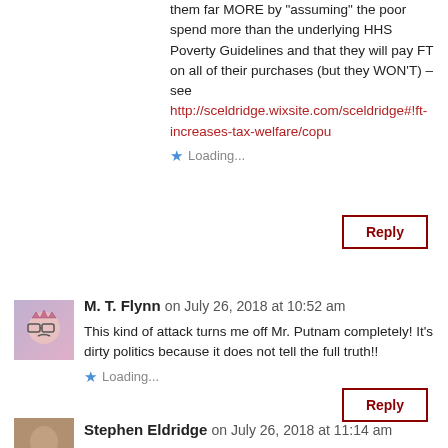them far MORE by "assuming" the poor spend more than the underlying HHS Poverty Guidelines and that they will pay FT on all of their purchases (but they WON'T) – see http://sceldridge.wixsite.com/sceldridge#!ft-increases-tax-welfare/copu
Loading...
Reply
M. T. Flynn on July 26, 2018 at 10:52 am
This kind of attack turns me off Mr. Putnam completely! It's dirty politics because it does not tell the full truth!!
Loading...
Reply
Stephen Eldridge on July 26, 2018 at 11:14 am